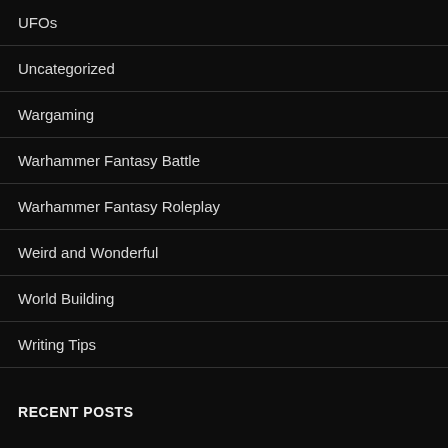UFOs
Uncategorized
Wargaming
Warhammer Fantasy Battle
Warhammer Fantasy Roleplay
Weird and Wonderful
World Building
Writing Tips
RECENT POSTS
Woodland Scenic Tree Armatures Glue Tip
Guthrum Mane – the Rock Giant from Bloodbath at Orcs Drift